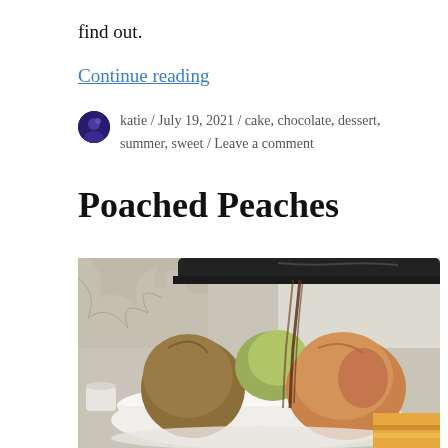find out.
Continue reading
katie / July 19, 2021 / cake, chocolate, dessert, summer, sweet / Leave a comment
Poached Peaches
[Figure (photo): Syrup being poured from a pan over peaches in a white bowl, with crumpled paper in the background]